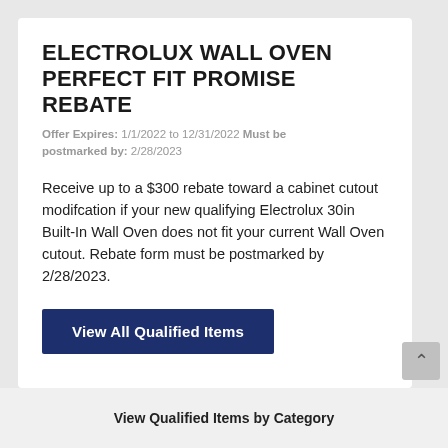ELECTROLUX WALL OVEN PERFECT FIT PROMISE REBATE
Offer Expires: 1/1/2022 to 12/31/2022 Must be postmarked by: 2/28/2023
Receive up to a $300 rebate toward a cabinet cutout modifcation if your new qualifying Electrolux 30in Built-In Wall Oven does not fit your current Wall Oven cutout. Rebate form must be postmarked by 2/28/2023.
View All Qualified Items
View Qualified Items by Category